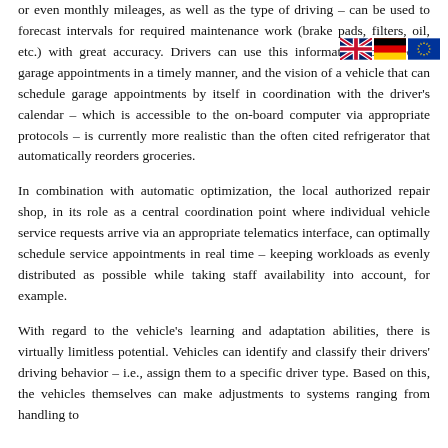or even monthly mileages, as well as the type of driving – can be used to forecast intervals for required maintenance work (brake pads, filters, oil, etc.) with great accuracy. Drivers can use this information to schedule garage appointments in a timely manner, and the vision of a vehicle that can schedule garage appointments by itself in coordination with the driver's calendar – which is accessible to the on-board computer via appropriate protocols – is currently more realistic than the often cited refrigerator that automatically reorders groceries.
In combination with automatic optimization, the local authorized repair shop, in its role as a central coordination point where individual vehicle service requests arrive via an appropriate telematics interface, can optimally schedule service appointments in real time – keeping workloads as evenly distributed as possible while taking staff availability into account, for example.
With regard to the vehicle's learning and adaptation abilities, there is virtually limitless potential. Vehicles can identify and classify their drivers' driving behavior – i.e., assign them to a specific driver type. Based on this, the vehicles themselves can make adjustments to systems ranging from handling to
[Figure (illustration): Three country flags: UK (Union Jack), Germany (black-red-gold), and EU (blue with yellow stars)]